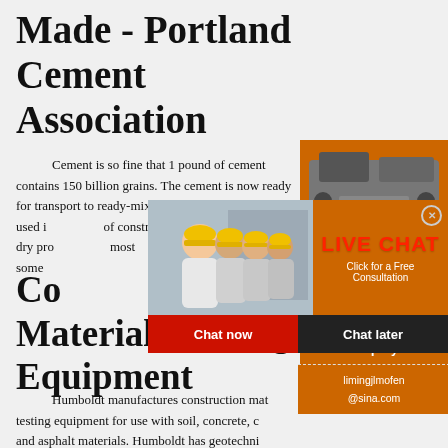Made - Portland Cement Association
Cement is so fine that 1 pound of cement contains 150 billion grains. The cement is now ready for transport to ready-mix concrete companies to be used in all types of construction projects. Although the dry process is the most... some...
Construction Materials Testing Equipment
[Figure (photo): Live chat overlay with construction workers in hard hats, orange background with LIVE CHAT text and 'Click for a Free Consultation', Chat now and Chat later buttons]
[Figure (photo): Orange sidebar advertisement with machinery images, Enjoy 3% discount / Click to Chat, Enquiry section, and email limingjlmofen@sina.com]
Humboldt manufactures construction materials testing equipment for use with soil, concrete, cement and asphalt materials. Humboldt has geotechnical and soil mechanics equipment like triaxial, consolidation and